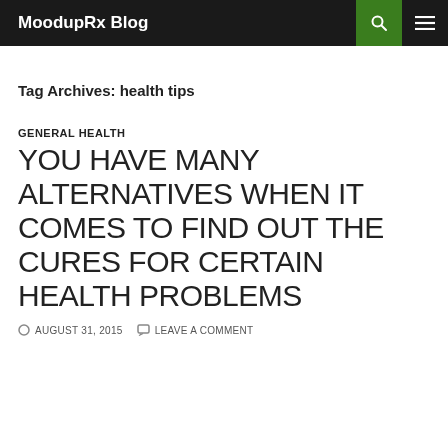MoodupRx Blog
Tag Archives: health tips
GENERAL HEALTH
YOU HAVE MANY ALTERNATIVES WHEN IT COMES TO FIND OUT THE CURES FOR CERTAIN HEALTH PROBLEMS
AUGUST 31, 2015   LEAVE A COMMENT